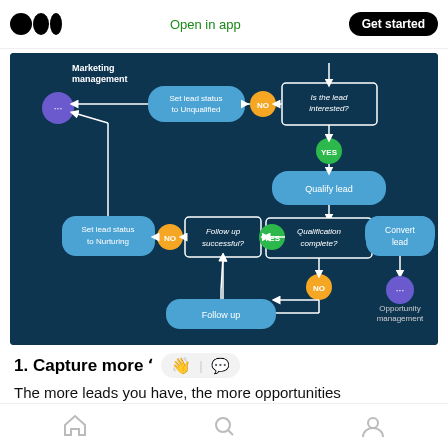Medium app header — Open in app | Get started
[Figure (flowchart): Lead management flowchart on dark blue background showing: Marketing management → Set lead status to Unqualified ← NO ← Is the lead interested? → YES → Qualify lead → Qualification complete? → YES → Convert lead → Opportunity management. Also: Qualification complete? → NO → Follow up successful? → NO → Set lead status to Nurturing; Follow up successful? → YES → (back); Follow up box at bottom center.]
1. Capture more '
The more leads you have, the more opportunities